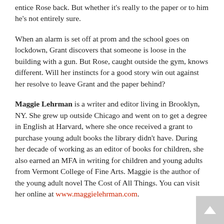entice Rose back. But whether it's really to the paper or to him he's not entirely sure.
When an alarm is set off at prom and the school goes on lockdown, Grant discovers that someone is loose in the building with a gun. But Rose, caught outside the gym, knows different. Will her instincts for a good story win out against her resolve to leave Grant and the paper behind?
Maggie Lehrman is a writer and editor living in Brooklyn, NY. She grew up outside Chicago and went on to get a degree in English at Harvard, where she once received a grant to purchase young adult books the library didn't have. During her decade of working as an editor of books for children, she also earned an MFA in writing for children and young adults from Vermont College of Fine Arts. Maggie is the author of the young adult novel The Cost of All Things. You can visit her online at www.maggielehrman.com.